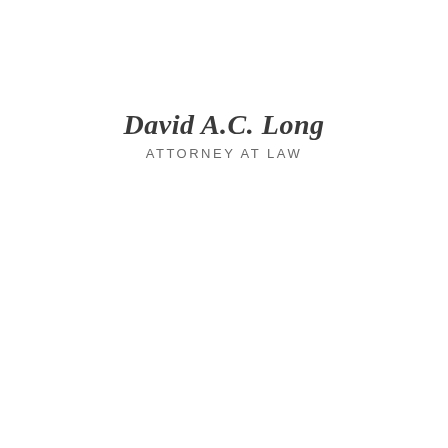David A.C. Long
ATTORNEY AT LAW